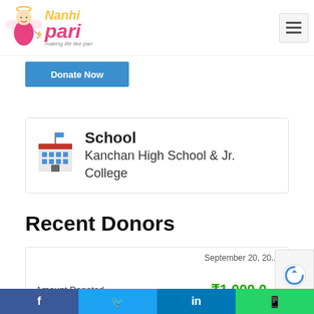Nanhi Pari — making life like pari
[Figure (logo): Nanhi Pari logo with cartoon angel girl and colorful text 'Nanhi pari' with tagline 'making life like pari']
Donate Now
School Kanchan High School & Jr. College
Recent Donors
September 20, 20...
Amount Donated
₹1,000.0...